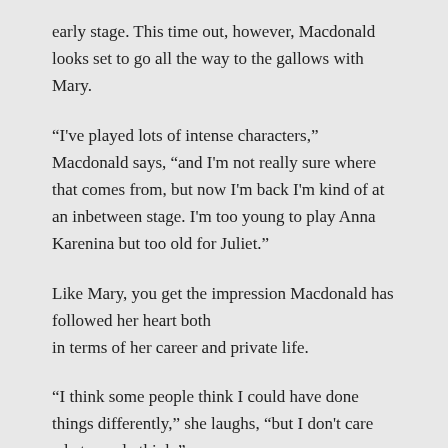early stage. This time out, however, Macdonald looks set to go all the way to the gallows with Mary.
“I've played lots of intense characters,” Macdonald says, “and I'm not really sure where that comes from, but now I'm back I'm kind of at an inbetween stage. I'm too young to play Anna Karenina but too old for Juliet.”
Like Mary, you get the impression Macdonald has followed her heart both in terms of her career and private life.
“I think some people think I could have done things differently,” she laughs, “but I don't care what people think.”
Mary Queen of Scots Got Her Head Chopped Off, Royal Lyceum